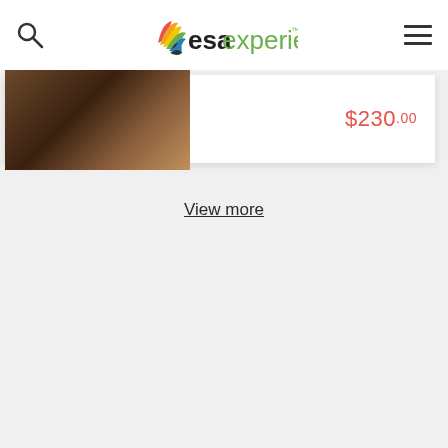esa experience — navigation header with search icon, logo, and hamburger menu
[Figure (photo): Partial product/event photo thumbnail on the left side of the card]
$230.00
View more